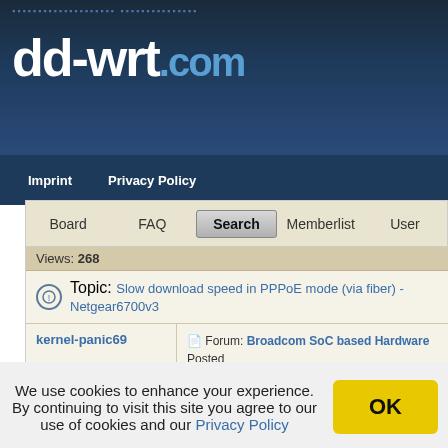[Figure (logo): dd-wrt.com website logo on dark blue gradient background with dot pattern]
Imprint   Privacy Policy
Board   FAQ   Search   Memberlist   User
Views: 268
Topic: Slow download speed in PPPoE mode (via fiber) -Netgear6700v3
kernel-panic69
Replies: 7
Views: 268
Forum: Broadcom SoC based Hardware  Posted
No need to open a thread, just read stickies:
Sticky: Sticky: Sticky: [url=https://forum.dd-wrt.com/ph
The main issue is ...
Goto page 1, 2, 3 ... 843, 844, 845  Next
We use cookies to enhance your experience. By continuing to visit this site you agree to our use of cookies and our Privacy Policy